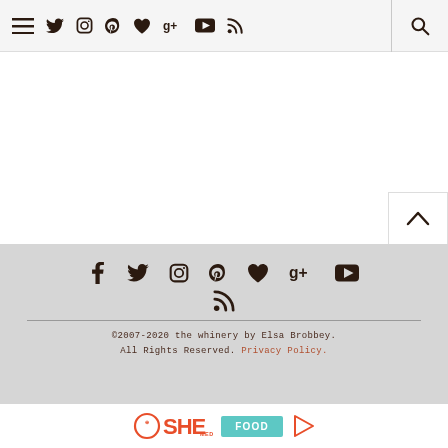[Figure (screenshot): Navigation bar with hamburger menu icon, social media icons (Twitter, Instagram, Pinterest, heart/Bloglovin, Google+, YouTube, RSS) and a search icon on the right]
[Figure (screenshot): Scroll-to-top button with upward caret arrow on the right side]
Footer with social media icons (Facebook, Twitter, Instagram, Pinterest, heart/Bloglovin, Google+, YouTube, RSS), a horizontal divider, copyright text: ©2007-2020 the whinery by Elsa Brobbey. All Rights Reserved. Privacy Policy.
[Figure (logo): SHE media logo with circular icon, orange SHE text, MEDIA label, a teal FOOD button, and a play button arrow]